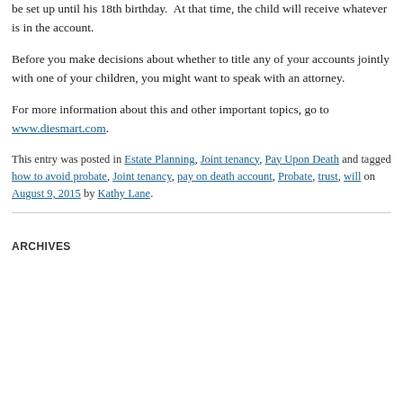be set up until his 18th birthday. At that time, the child will receive whatever is in the account.
Before you make decisions about whether to title any of your accounts jointly with one of your children, you might want to speak with an attorney.
For more information about this and other important topics, go to www.diesmart.com.
This entry was posted in Estate Planning, Joint tenancy, Pay Upon Death and tagged how to avoid probate, Joint tenancy, pay on death account, Probate, trust, will on August 9, 2015 by Kathy Lane.
ARCHIVES